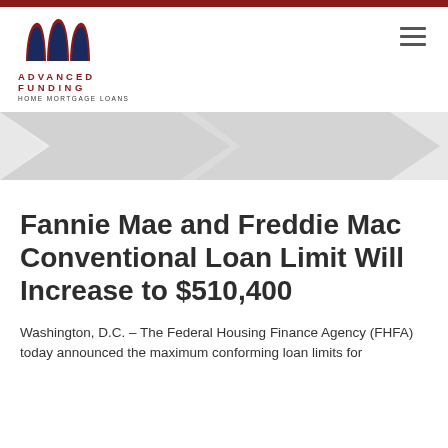[Figure (logo): Advanced Funding Home Mortgage Loans logo with stylized red and navy arch marks above the company name in red letters]
[Figure (illustration): Decorative grey arrow/chevron shapes forming a hero banner background]
Fannie Mae and Freddie Mac Conventional Loan Limit Will Increase to $510,400
Washington, D.C. – The Federal Housing Finance Agency (FHFA) today announced the maximum conforming loan limits for mortgages to be acquired by Fannie Mae and Freddie Mac...